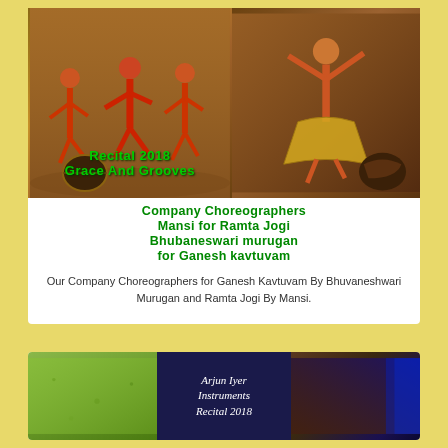[Figure (photo): Two dance performance photos side by side: left shows three young dancers in red costumes on stage, right shows a solo dancer in traditional costume. Text overlay reads 'Recital 2018 Grace And Grooves'.]
Company Choreographers
Mansi for Ramta Jogi
Bhubaneswari murugan for Ganesh kavtuvam
Our Company Choreographers for Ganesh Kavtuvam By Bhuvaneshwari Murugan and Ramta Jogi By Mansi.
[Figure (photo): Three images side by side at bottom: green textured surface, dark blue book cover with italic text 'Arjun Iyer Instruments Recital 2018', and a dark brownish-purple textured surface with blue light.]